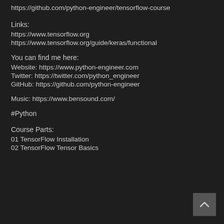https://github.com/python-engineer/tensorflow-course
Links:
https://www.tensorflow.org
https://www.tensorflow.org/guide/keras/functional
You can find me here:
Website: https://www.python-engineer.com
Twitter: https://twitter.com/python_engineer
GitHub: https://github.com/python-engineer
Music: https://www.bensound.com/
#Python
Course Parts:
01 TensorFlow Installation
02 TensorFlow Tensor Basics